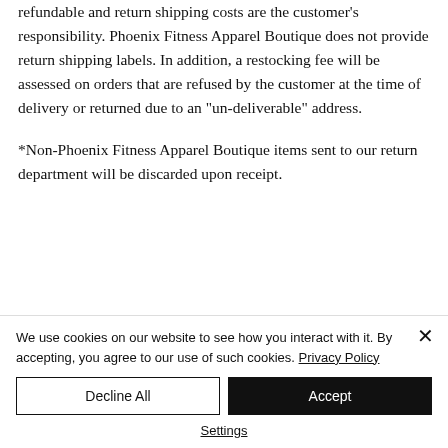refundable and return shipping costs are the customer's responsibility. Phoenix Fitness Apparel Boutique does not provide return shipping labels. In addition, a restocking fee will be assessed on orders that are refused by the customer at the time of delivery or returned due to an "un-deliverable" address.
*Non-Phoenix Fitness Apparel Boutique items sent to our return department will be discarded upon receipt.
We use cookies on our website to see how you interact with it. By accepting, you agree to our use of such cookies. Privacy Policy
Decline All
Accept
Settings